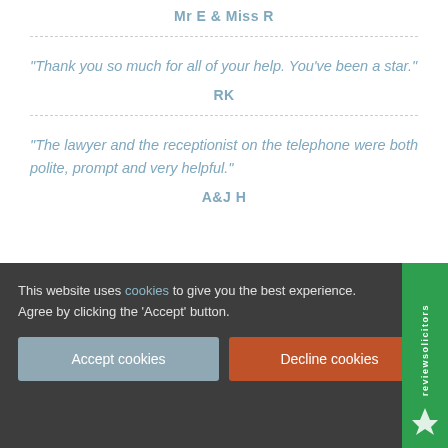Mr E & Miss R
“Thank you so much for all of your help. You’ve been a star.”
RK
“The lawyer and the receptionist on the telephone were both polite, prompt and very helpful.”
A&J H
This website uses cookies to give you the best experience. Agree by clicking the ‘Accept’ button.